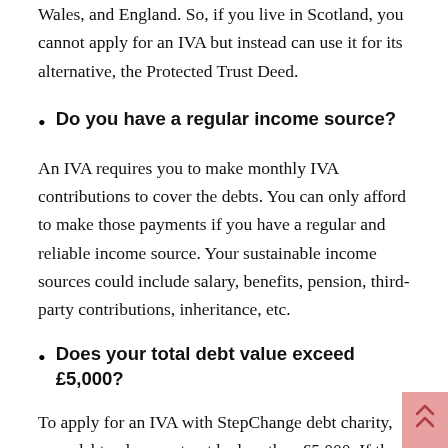Wales, and England. So, if you live in Scotland, you cannot apply for an IVA but instead can use it for its alternative, the Protected Trust Deed.
Do you have a regular income source?
An IVA requires you to make monthly IVA contributions to cover the debts. You can only afford to make those payments if you have a regular and reliable income source. Your sustainable income sources could include salary, benefits, pension, third-party contributions, inheritance, etc.
Does your total debt value exceed £5,000?
To apply for an IVA with StepChange debt charity, your debt value must not be less than £5,000. If the combined value of your unsecured debts falls less